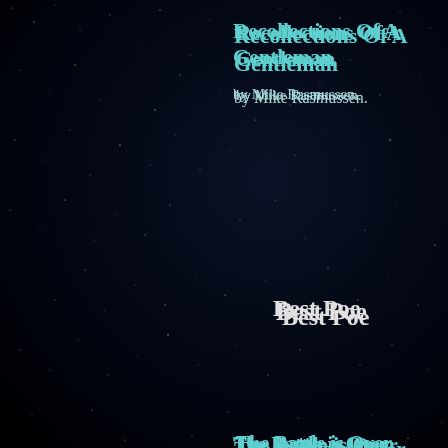Recollections Of A Gentleman
by Mike Rasmussen.
Best Poe
The Battle is Over
by Thomas Reynolds
The Bear
by Mari Ness
The Colony
by John McKevitt
Goes Around, Comes Around
by Jan Logsdon
Meat Machine